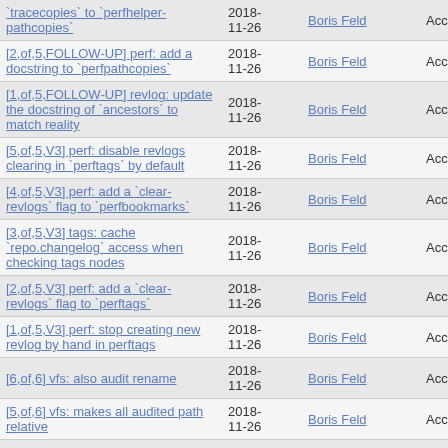| `tracecopies` to `perfhelper-pathcopies` | 2018-11-26 | Boris Feld | Accepted |
| [2,of,5,FOLLOW-UP] perf: add a docstring to `perfpathcopies` | 2018-11-26 | Boris Feld | Accepted |
| [1,of,5,FOLLOW-UP] revlog: update the docstring of `ancestors` to match reality | 2018-11-26 | Boris Feld | Accepted |
| [5,of,5,V3] perf: disable revlogs clearing in `perftags` by default | 2018-11-26 | Boris Feld | Accepted |
| [4,of,5,V3] perf: add a `clear-revlogs` flag to `perfbookmarks` | 2018-11-26 | Boris Feld | Accepted |
| [3,of,5,V3] tags: cache `repo.changelog` access when checking tags nodes | 2018-11-26 | Boris Feld | Accepted |
| [2,of,5,V3] perf: add a `clear-revlogs` flag to `perftags` | 2018-11-26 | Boris Feld | Accepted |
| [1,of,5,V3] perf: stop creating new revlog by hand in perftags | 2018-11-26 | Boris Feld | Accepted |
| [6,of,6] vfs: also audit rename | 2018-11-26 | Boris Feld | Accepted |
| [5,of,6] vfs: makes all audited path relative | 2018-11-26 | Boris Feld | Accepted |
| [4,of,6] vfs: extract the | 2018- | Boris Feld | Accepted |